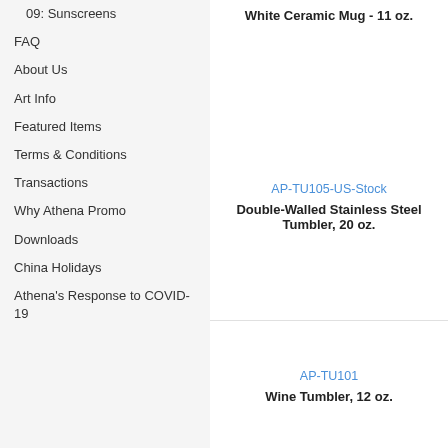09: Sunscreens
FAQ
About Us
Art Info
Featured Items
Terms & Conditions
Transactions
Why Athena Promo
Downloads
China Holidays
Athena's Response to COVID-19
White Ceramic Mug - 11 oz.
AP-TU105-US-Stock
Double-Walled Stainless Steel Tumbler, 20 oz.
AP-TU101
Wine Tumbler, 12 oz.